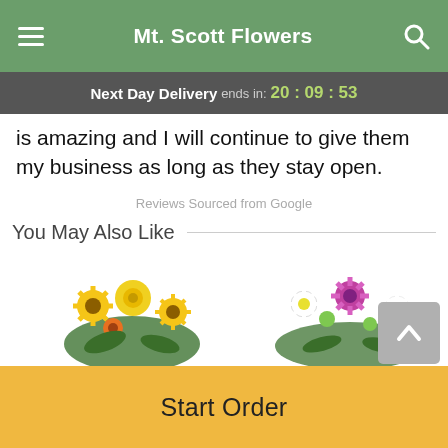Mt. Scott Flowers
Next Day Delivery ends in: 20 : 09 : 53
is amazing and I will continue to give them my business as long as they stay open.
Reviews Sourced from Google
You May Also Like
[Figure (photo): Yellow flower bouquet with sunflowers and roses]
[Figure (photo): White and pink/purple daisy bouquet]
Start Order